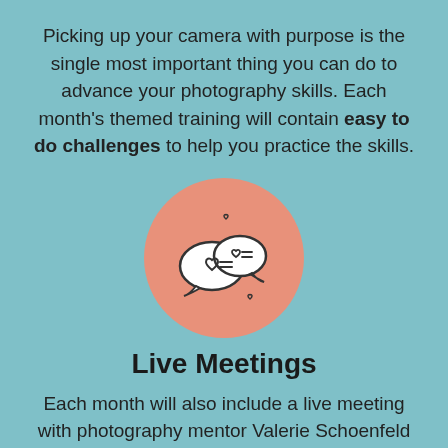Picking up your camera with purpose is the single most important thing you can do to advance your photography skills. Each month's themed training will contain easy to do challenges to help you practice the skills.
[Figure (illustration): Two speech bubbles with hearts and lines inside, on a salmon/peach colored circle background]
Live Meetings
Each month will also include a live meeting with photography mentor Valerie Schoenfeld to answer any questions, provide feedback, and